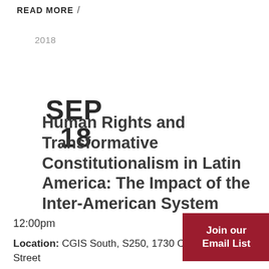READ MORE →
2018
SEP
18
Human Rights and Transformative Constitutionalism in Latin America: The Impact of the Inter-American System
12:00pm
Location: CGIS South, S250, 1730 Cambridge Street
Join our Email List